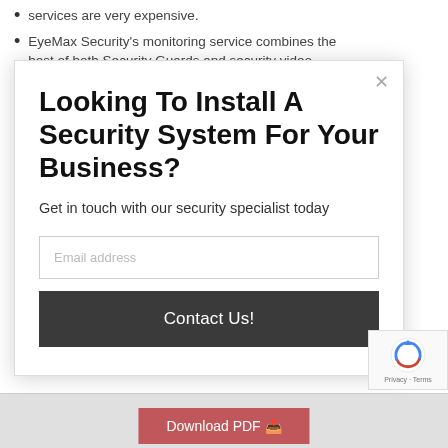services are very expensive.
EyeMax Security's monitoring service combines the best of both Security Guards and security video
Looking To Install A Security System For Your Business?
Get in touch with our security specialist today
Email address
Contact Us!
Download PDF